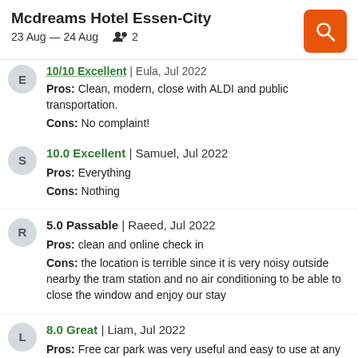Mcdreams Hotel Essen-City
23 Aug — 24 Aug  2
10/10 Excellent | Eula, Jul 2022
Pros: Clean, modern, close with ALDI and public transportation.
Cons: No complaint!
10.0 Excellent | Samuel, Jul 2022
Pros: Everything
Cons: Nothing
5.0 Passable | Raeed, Jul 2022
Pros: clean and online check in
Cons: the location is terrible since it is very noisy outside nearby the tram station and no air conditioning to be able to close the window and enjoy our stay
8.0 Great | Liam, Jul 2022
Pros: Free car park was very useful and easy to use at any hour. Loved the automated check-in, as long as you give enough details before you arrive you will just get a pin number to enter your room. Makes checking in much better. and more